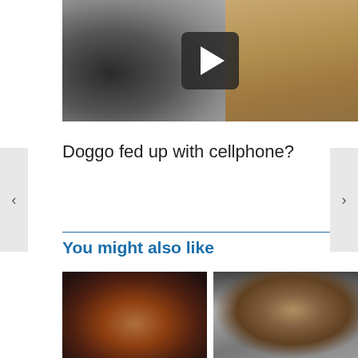[Figure (screenshot): Video thumbnail of a dog near a food bowl on a wood floor with a play button overlay]
Doggo fed up with cellphone?
You might also like
[Figure (photo): Brown dog lying on dark material/hay]
[Figure (photo): German Shepherd dog sitting in car with tongue out, another dog visible below]